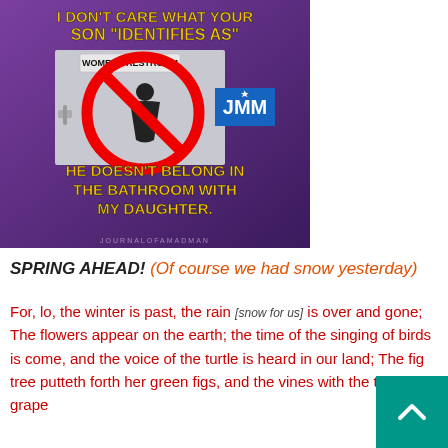[Figure (infographic): Social media meme image with purple/dark background. Top text in yellow bold font: 'I DON'T CARE WHAT YOUR SON "IDENTIFIES AS"'. Center shows a 'WOMENS RESTROOM' sign with a female figure icon inside a red prohibition circle/slash symbol. A blue rectangle with white text 'JMM' appears on the right side. Bottom text in yellow bold font: 'HE DOESN'T BELONG IN THE BATHROOM WITH MY DAUGHTER.' Watermark at bottom: 'JOURNALOFAMADMAN']
SPRING AHEAD! (Of course we had snow yesterday)
For, lo, the winter is past, the rain [snow for us] is over and gone; The flowers appear on the earth; the time of the singing of birds is come, and the voice of the turtle is heard in our land; The fig tree putteth forth her green figs, and the vines with the tender grape